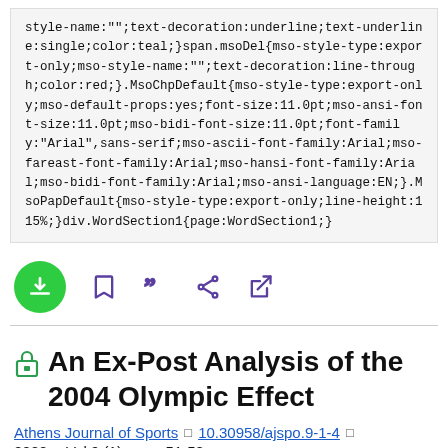style-name:"";text-decoration:underline;text-underline:single;color:teal;}span.msoDel{mso-style-type:export-only;mso-style-name:"";text-decoration:line-through;color:red;}.MsoChpDefault{mso-style-type:export-only;mso-default-props:yes;font-size:11.0pt;mso-ansi-font-size:11.0pt;mso-bidi-font-size:11.0pt;font-family:"Arial",sans-serif;mso-ascii-font-family:Arial;mso-fareast-font-family:Arial;mso-hansi-font-family:Arial;mso-bidi-font-family:Arial;mso-ansi-language:EN;}.MsoPapDefault{mso-style-type:export-only;line-height:115%;}div.WordSection1{page:WordSection1;}
[Figure (infographic): Toolbar with download button (green circle with down arrow), bookmark icon, quote icon, share icon, and external link icon, all in purple/teal color scheme]
An Ex-Post Analysis of the 2004 Olympic Effect
Athens Journal of Sports  □  10.30958/ajspo.9-1-4  □  2022  □  Vol.9 (1)  □  pp. 51-58